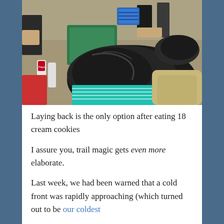[Figure (photo): Outdoor scene showing people relaxing on the ground. A large black garbage bag, green cooler, blue basket, Pepsi bottles, camping chairs, and people's legs visible. Sunny dry terrain in background.]
Laying back is the only option after eating 18 cream cookies
I assure you, trail magic gets even more elaborate.
Last week, we had been warned that a cold front was rapidly approaching (which turned out to be our coldest